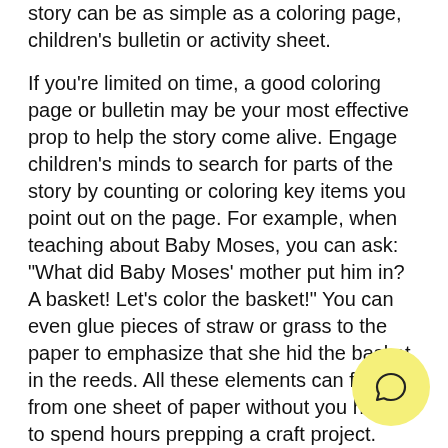story can be as simple as a coloring page, children's bulletin or activity sheet.
If you're limited on time, a good coloring page or bulletin may be your most effective prop to help the story come alive. Engage children's minds to search for parts of the story by counting or coloring key items you point out on the page. For example, when teaching about Baby Moses, you can ask: "What did Baby Moses' mother put him in? A basket! Let's color the basket!" You can even glue pieces of straw or grass to the paper to emphasize that she hid the basket in the reeds. All these elements can flow from one sheet of paper without you having to spend hours prepping a craft project.
Another way to show the story visually is to use play dough to help kids retell it. This is especially great for stories where the main characters are instructed to build something — Noah and the a... anywhere building Solomon's temple. Once you're...
[Figure (illustration): Yellow circular chat bubble icon with a speech bubble symbol inside, positioned in the bottom-right corner of the page.]